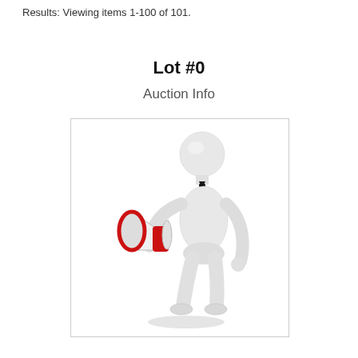Results: Viewing items 1-100 of 101.
Lot #0
Auction Info
[Figure (illustration): 3D rendered figure of a white humanoid holding a red and white megaphone, wearing a black tie, standing upright.]